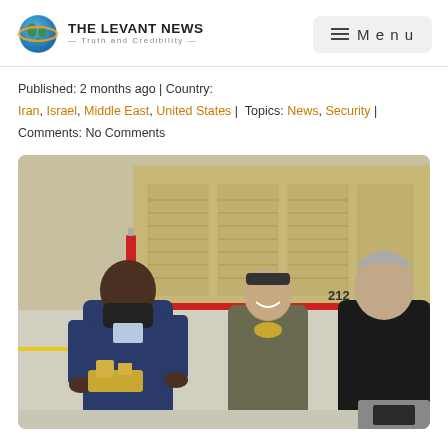THE LEVANT NEWS — Truth and Credibility — Menu
Published: 2 months ago | Country: Iran, Israel, Middle East, United States | Topics: News, Security | Comments: No Comments
[Figure (photo): Three men standing outdoors near a military vehicle. The man on the left wears a dark suit and black face mask and holds a small golden model of a military system. The man in the center wears a military flight suit and smiles. The man on the right wears a dark jacket. In the background is a large tan military trailer/vehicle.]